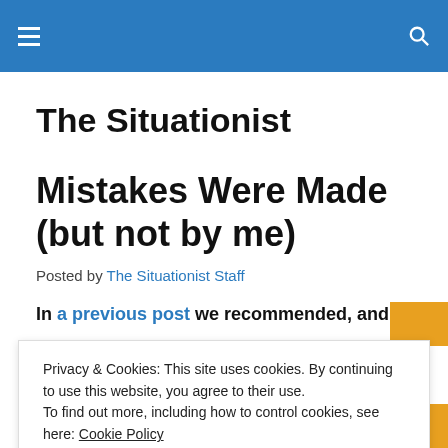The Situationist (navigation bar)
The Situationist
Mistakes Were Made (but not by me)
Posted by The Situationist Staff
In a previous post we recommended, and
Privacy & Cookies: This site uses cookies. By continuing to use this website, you agree to their use. To find out more, including how to control cookies, see here: Cookie Policy
Close and accept
Aronson. In this post, we provide an